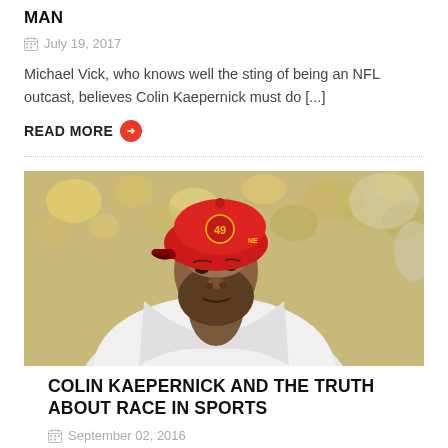MAN
July 19, 2017
Michael Vick, who knows well the sting of being an NFL outcast, believes Colin Kaepernick must do [...]
READ MORE
[Figure (photo): Close-up photo of Colin Kaepernick wearing a red San Francisco 49ers cap and white jersey, with a blurry crowd in the background.]
COLIN KAEPERNICK AND THE TRUTH ABOUT RACE IN SPORTS
September 02, 2016
Race stands at the intersection of media and sports